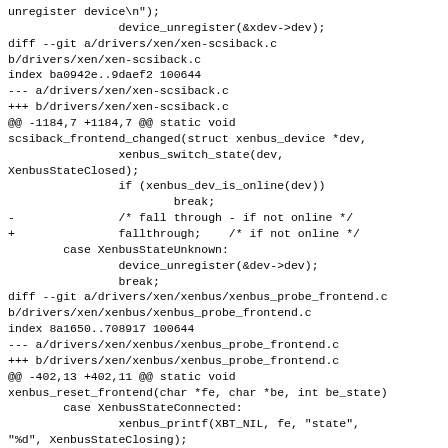unregister device\n");
                device_unregister(&xdev->dev);
diff --git a/drivers/xen/xen-scsiback.c
b/drivers/xen/xen-scsiback.c
index ba0942e..9daef2 100644
--- a/drivers/xen/xen-scsiback.c
+++ b/drivers/xen/xen-scsiback.c
@@ -1184,7 +1184,7 @@ static void
scsiback_frontend_changed(struct xenbus_device *dev,
                xenbus_switch_state(dev,
XenbusStateClosed);
                if (xenbus_dev_is_online(dev))
                        break;
-               /* fall through - if not online */
+               fallthrough;    /* if not online */
        case XenbusStateUnknown:
                device_unregister(&dev->dev);
                break;
diff --git a/drivers/xen/xenbus/xenbus_probe_frontend.c
b/drivers/xen/xenbus/xenbus_probe_frontend.c
index 8a1650..708917 100644
--- a/drivers/xen/xenbus/xenbus_probe_frontend.c
+++ b/drivers/xen/xenbus/xenbus_probe_frontend.c
@@ -402,13 +402,11 @@ static void
xenbus_reset_frontend(char *fe, char *be, int be_state)
        case XenbusStateConnected:
                xenbus_printf(XBT_NIL, fe, "state",
"%d", XenbusStateClosing);
                xenbus_reset_wait_for_backend(be,
XenbusStateClosing);